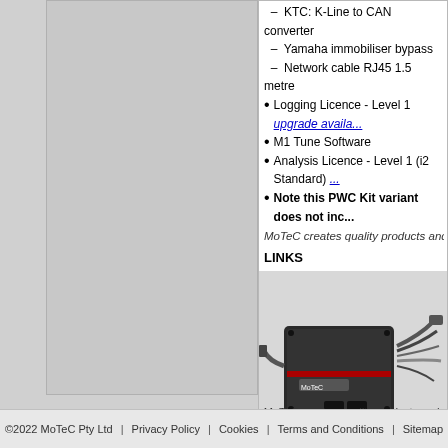KTC: K-Line to CAN converter
Yamaha immobiliser bypass
Network cable RJ45 1.5 metre
Logging Licence - Level 1 upgrade available
M1 Tune Software
Analysis Licence - Level 1 (i2 Standard) ...
Note this PWC Kit variant does not inc...
MoTeC creates quality products and provide...
LINKS
Download | Request A Quote | Support
Note: GPS communication via CAN - additio...
[Figure (photo): MoTeC ECU device with wiring harness and connectors]
MoTeC creates quality products and provides qu...
©2022 MoTeC Pty Ltd | Privacy Policy | Cookies | Terms and Conditions | Sitemap